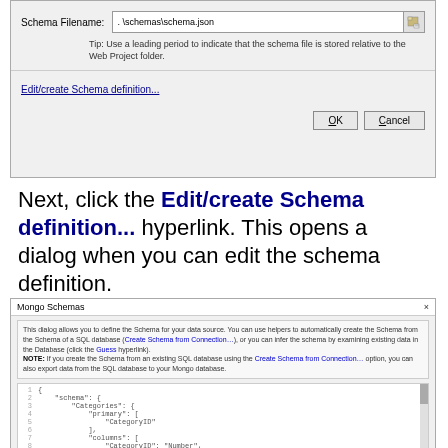[Figure (screenshot): Dialog box with Schema Filename field showing .\schemas\schema.json, a tip about leading period for relative path, an Edit/create Schema definition hyperlink, and OK/Cancel buttons]
Next, click the Edit/create Schema definition... hyperlink. This opens a dialog when you can edit the schema definition.
[Figure (screenshot): Mongo Schemas dialog with description text, JSON code editor showing schema definition with Categories and Customers collections, and a scrollbar on the right]